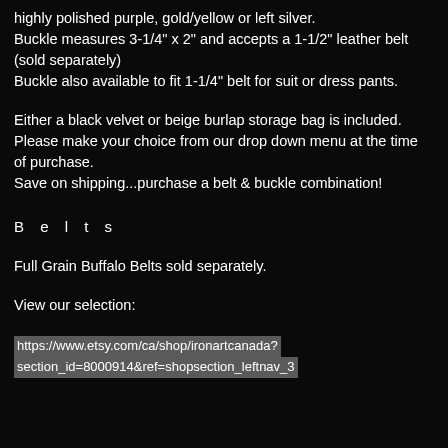highly polished purple, gold/yellow or left silver.
Buckle measures 3-1/4" x 2" and accepts a 1-1/2" leather belt (sold separately)
Buckle also available to fit 1-1/4" belt for suit or dress pants.
Either a black velvet or beige burlap storage bag is included. Please make your choice from our drop down menu at the time of purchase.
Save on shipping...purchase a belt & buckle combination!
B e l t s
Full Grain Buffalo Belts sold separately.
View our selection:
https://www.etsy.com/ca/shop/ironartcanada?
section_id=8000914&ref=shopsection_leftnav_3